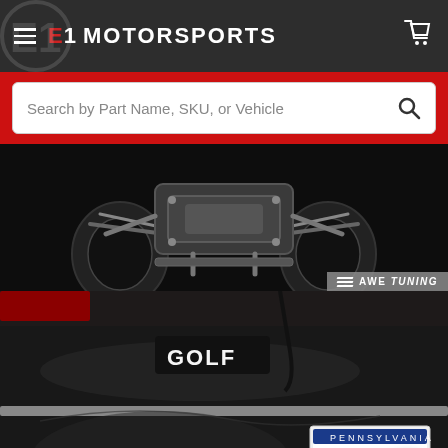E1 MOTORSPORTS
Search by Part Name, SKU, or Vehicle
[Figure (photo): Underside/chassis view of a car from below, showing suspension components, exhaust system, and tires against a black background. AWE Tuning watermark in lower right corner.]
[Figure (photo): Rear view of a black Volkswagen Golf, showing the GOLF badge on the trunk lid, chrome trim, and a Pennsylvania license plate partially visible. A chat/messenger button is overlaid in the lower right.]